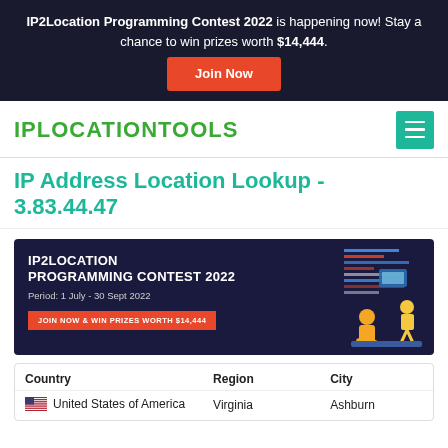IP2Location Programming Contest 2022 is happening now! Stay a chance to win prizes worth $14,444. Join Now
[Figure (logo): IPLOCATIONTOOLS logo in green uppercase bold text with hamburger menu icon on the right]
IP Address Location Lookup - 3.83.44.47
[Figure (infographic): IP2LOCATION PROGRAMMING CONTEST 2022 banner. Period: 1 July - 30 Sept 2022. JOIN NOW & WIN PRIZES WORTH $14,444 button. Illustration of person with laptop on right side.]
| Country | Region | City |
| --- | --- | --- |
| United States of America | Virginia | Ashburn |